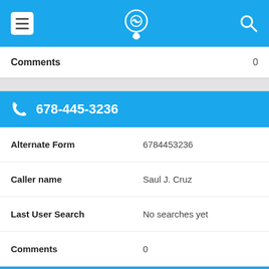Navigation bar with menu, phone locator logo, and search icon
Comments	0
678-445-3236
Alternate Form	6784453236
Caller name	Saul J. Cruz
Last User Search	No searches yet
Comments	0
Shares | Email | WhatsApp | Facebook